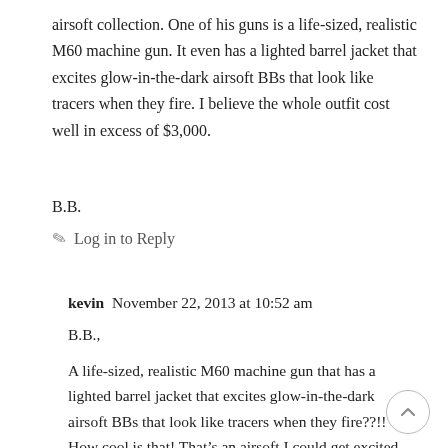airsoft collection. One of his guns is a life-sized, realistic M60 machine gun. It even has a lighted barrel jacket that excites glow-in-the-dark airsoft BBs that look like tracers when they fire. I believe the whole outfit cost well in excess of $3,000.
B.B.
✏   Log in to Reply
kevin  November 22, 2013 at 10:52 am
B.B.,
A life-sized, realistic M60 machine gun that has a lighted barrel jacket that excites glow-in-the-dark airsoft BBs that look like tracers when they fire??!! How cool is that! That's an airsoft I could get excited about.
Really wish you wouldn't tempt us with more cool stuff like this. I already have too many addictions.